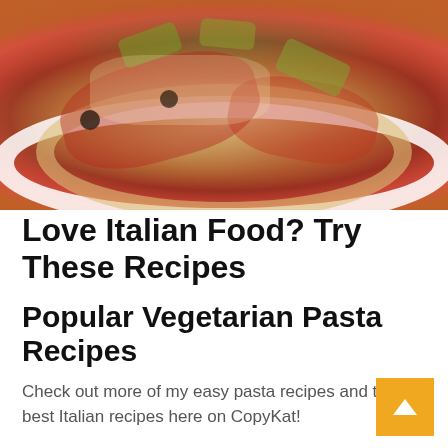[Figure (photo): Close-up top-down photo of a white bowl of spaghetti pasta topped with chunky tomato sauce, diced zucchini/yellow squash, olives, capers, herbs, and grated parmesan cheese. The bowl sits on a light gray wooden surface.]
Love Italian Food? Try These Recipes
Popular Vegetarian Pasta Recipes
Check out more of my easy pasta recipes and the best Italian recipes here on CopyKat!